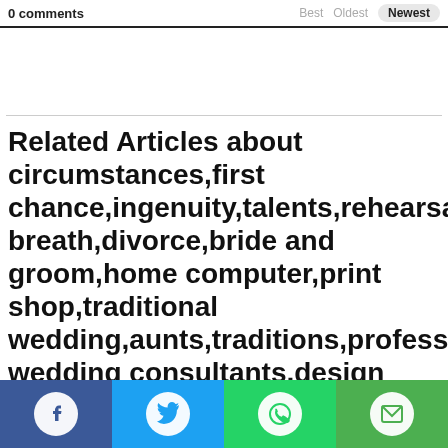0 comments   Best   Oldest   Newest
Related Articles about circumstances,first chance,ingenuity,talents,rehearsal,deep breath,divorce,bride and groom,home computer,print shop,traditional wedding,aunts,traditions,professional wedding consultants,design your own invitations,traditional weddings,professional print domineering parents,wedding